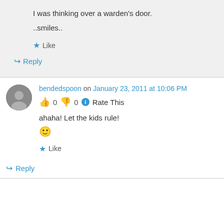I was thinking over a warden's door.
..smiles..
Like
↳ Reply
bendedspoon on January 23, 2011 at 10:06 PM
👍 0 👎 0 ℹ Rate This
ahaha! Let the kids rule!
😊
Like
↳ Reply